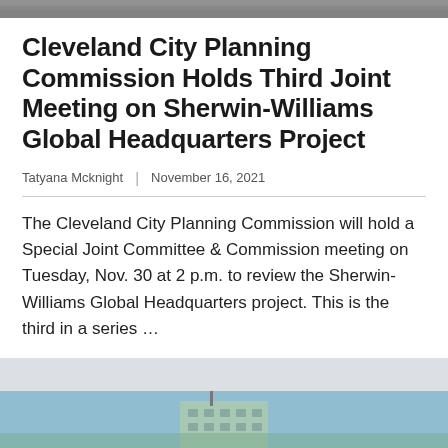[Figure (photo): Top strip of a photo, partially cropped, showing an outdoor/architectural scene]
Cleveland City Planning Commission Holds Third Joint Meeting on Sherwin-Williams Global Headquarters Project
Tatyana Mcknight | November 16, 2021
The Cleveland City Planning Commission will hold a Special Joint Committee & Commission meeting on Tuesday, Nov. 30 at 2 p.m. to review the Sherwin- Williams Global Headquarters project. This is the third in a series …
READ MORE
[Figure (photo): Bottom portion of page showing a light blue/gray background with a partial photo of a building or architectural structure visible at the bottom edge]